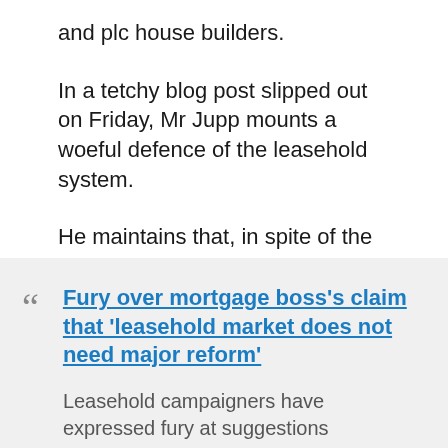and plc house builders.
In a tetchy blog post slipped out on Friday, Mr Jupp mounts a woeful defence of the leasehold system.
He maintains that, in spite of the evidence, leasehold works well and does not require major reform.
Fury over mortgage boss's claim that 'leasehold market does not need major reform'
Leasehold campaigners have expressed fury at suggestions